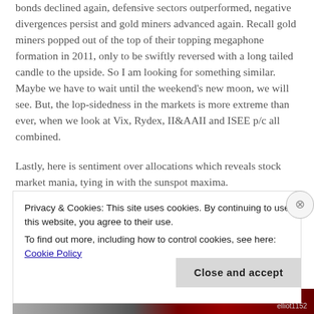bonds declined again, defensive sectors outperformed, negative divergences persist and gold miners advanced again. Recall gold miners popped out of the top of their topping megaphone formation in 2011, only to be swiftly reversed with a long tailed candle to the upside. So I am looking for something similar. Maybe we have to wait until the weekend's new moon, we will see. But, the lop-sidedness in the markets is more extreme than ever, when we look at Vix, Rydex, II&AAII and ISEE p/c all combined.
Lastly, here is sentiment over allocations which reveals stock market mania, tying in with the sunspot maxima.
Privacy & Cookies: This site uses cookies. By continuing to use this website, you agree to their use. To find out more, including how to control cookies, see here: Cookie Policy
Close and accept